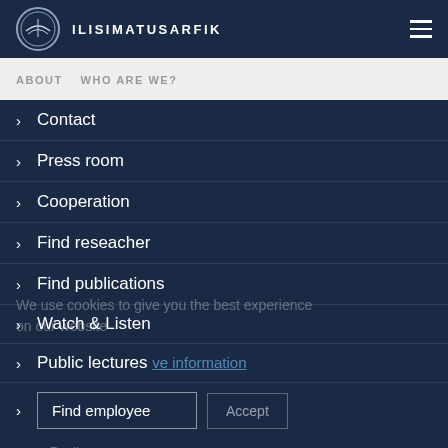ILISIMATUSARFIK
ABOUT
WHO ARE WE?
Contact
Press room
Cooperation
Find reseacher
Find publications
Watch & Listen
Public lectures
Find employee
Newsletter sign-up